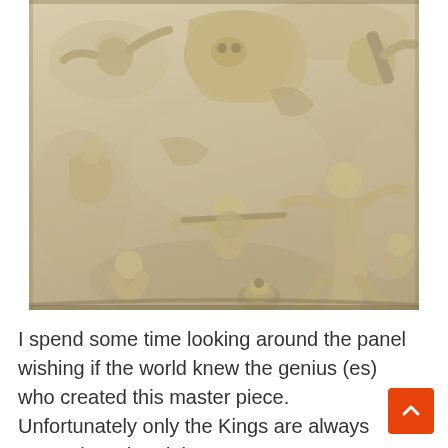[Figure (photo): A stone relief carving showing multiple human and animal figures engaged in a dynamic battle or mythological scene. The relief is carved in a beige/cream-colored stone, with detailed figures in various poses including combat and struggle.]
I spend some time looking around the panel wishing if the world knew the genius (es) who created this master piece. Unfortunately only the Kings are always remembered and the